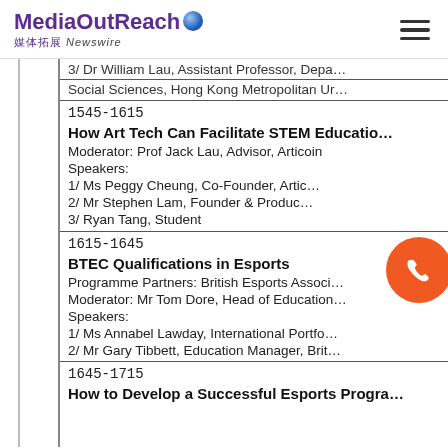MediaOutReach 媒体拓展 Newswire
3/ Dr William Lau, Assistant Professor, Department of Social Sciences, Hong Kong Metropolitan University
1545-1615
How Art Tech Can Facilitate STEM Education
Moderator: Prof Jack Lau, Advisor, Articoin
Speakers:
1/ Ms Peggy Cheung, Co-Founder, Articoin
2/ Mr Stephen Lam, Founder & Producer
3/ Ryan Tang, Student
1615-1645
BTEC Qualifications in Esports
Programme Partners: British Esports Association
Moderator: Mr Tom Dore, Head of Education
Speakers:
1/ Ms Annabel Lawday, International Portfolio
2/ Mr Gary Tibbett, Education Manager, British Esports
1645-1715
How to Develop a Successful Esports Programme